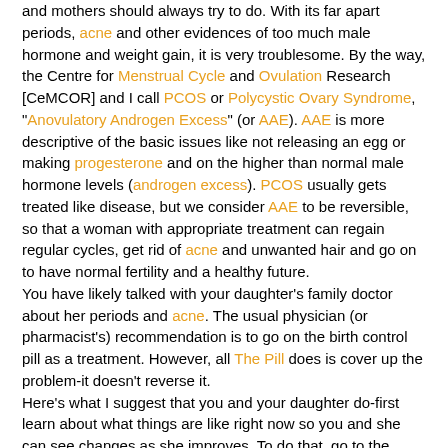and mothers should always try to do. With its far apart periods, acne and other evidences of too much male hormone and weight gain, it is very troublesome. By the way, the Centre for Menstrual Cycle and Ovulation Research [CeMCOR] and I call PCOS or Polycystic Ovary Syndrome, "Anovulatory Androgen Excess" (or AAE). AAE is more descriptive of the basic issues like not releasing an egg or making progesterone and on the higher than normal male hormone levels (androgen excess). PCOS usually gets treated like disease, but we consider AAE to be reversible, so that a woman with appropriate treatment can regain regular cycles, get rid of acne and unwanted hair and go on to have normal fertility and a healthy future. You have likely talked with your daughter's family doctor about her periods and acne. The usual physician (or pharmacist's) recommendation is to go on the birth control pill as a treatment. However, all The Pill does is cover up the problem-it doesn't reverse it. Here's what I suggest that you and your daughter do-first learn about what things are like right now so you and she can see changes as she improves. To do that, go to the CeMCOR website and download the Menstrual Cycle Diary